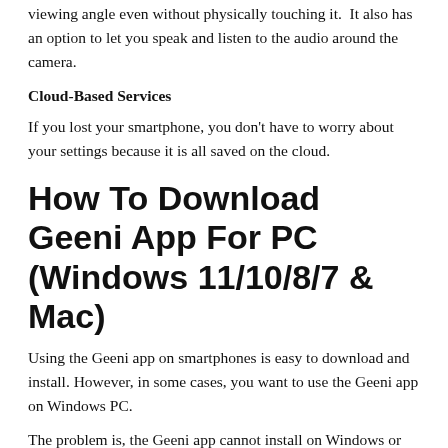viewing angle even without physically touching it.  It also has an option to let you speak and listen to the audio around the camera.
Cloud-Based Services
If you lost your smartphone, you don't have to worry about your settings because it is all saved on the cloud.
How To Download Geeni App For PC (Windows 11/10/8/7 & Mac)
Using the Geeni app on smartphones is easy to download and install. However, in some cases, you want to use the Geeni app on Windows PC.
The problem is, the Geeni app cannot install on Windows or Mac directly. In order to do it, you are going to need an emulator software on your computer.